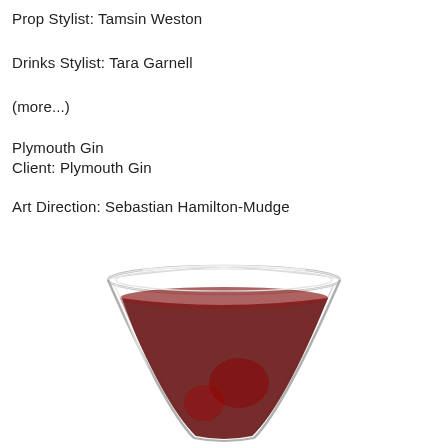Prop Stylist: Tamsin Weston
Drinks Stylist: Tara Garnell
(more...)
Plymouth Gin
Client: Plymouth Gin
Art Direction: Sebastian Hamilton-Mudge
[Figure (photo): A martini-style glass filled with a dark red cocktail, viewed from slightly above, showing the wide rim and tapered lower body of the glass with the liquid filling the lower portion.]